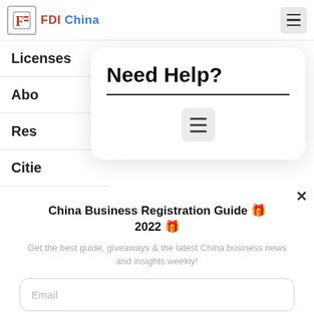FDI China
Licenses
About
Resources
Cities
Need Help?
China Business Registration Guide 🎁 2022 🎁
Get the best guide, giveaways & the latest China business news and insights weekly!
Email
Get Now!